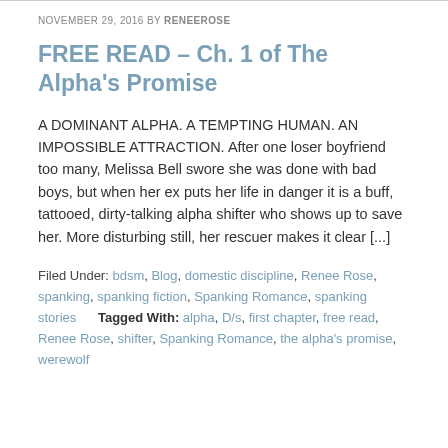NOVEMBER 29, 2016 BY RENEEROSE
FREE READ – Ch. 1 of The Alpha's Promise
A DOMINANT ALPHA. A TEMPTING HUMAN. AN IMPOSSIBLE ATTRACTION. After one loser boyfriend too many, Melissa Bell swore she was done with bad boys, but when her ex puts her life in danger it is a buff, tattooed, dirty-talking alpha shifter who shows up to save her. More disturbing still, her rescuer makes it clear [...]
Filed Under: bdsm, Blog, domestic discipline, Renee Rose, spanking, spanking fiction, Spanking Romance, spanking stories      Tagged With: alpha, D/s, first chapter, free read, Renee Rose, shifter, Spanking Romance, the alpha's promise, werewolf